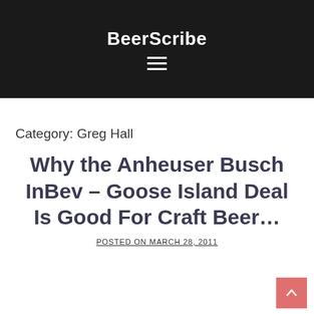BeerScribe
Category: Greg Hall
Why the Anheuser Busch InBev – Goose Island Deal Is Good For Craft Beer…
POSTED ON MARCH 28, 2011